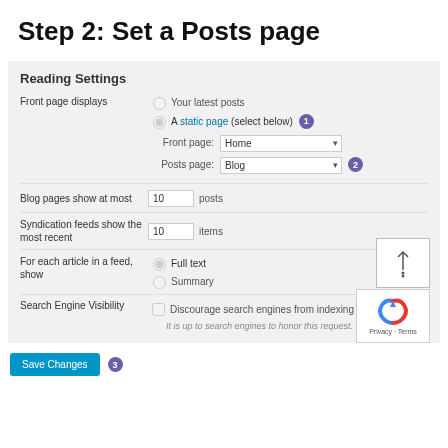Step 2: Set a Posts page
Reading Settings
Front page displays
Your latest posts
A static page (select below)
Front page: Home
Posts page: Blog
Blog pages show at most 10 posts
Syndication feeds show the most recent 10 items
For each article in a feed, show
Full text
Summary
Search Engine Visibility
Discourage search engines from indexing this site
It is up to search engines to honor this request.
Save Changes